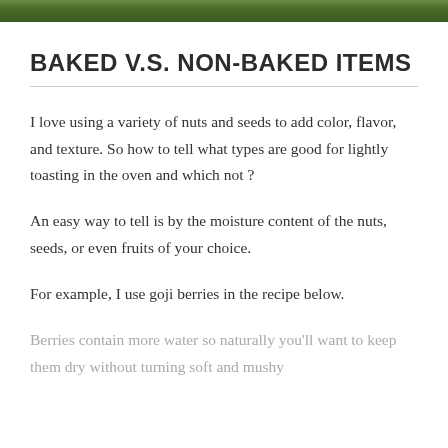[Figure (photo): Partial photo strip at the top of the page showing green foliage/plants]
BAKED V.S. NON-BAKED ITEMS
I love using a variety of nuts and seeds to add color, flavor, and texture. So how to tell what types are good for lightly toasting in the oven and which not ?
An easy way to tell is by the moisture content of the nuts, seeds, or even fruits of your choice.
For example, I use goji berries in the recipe below.
Berries contain more water so naturally you'll want to keep them dry without turning soft and mushy